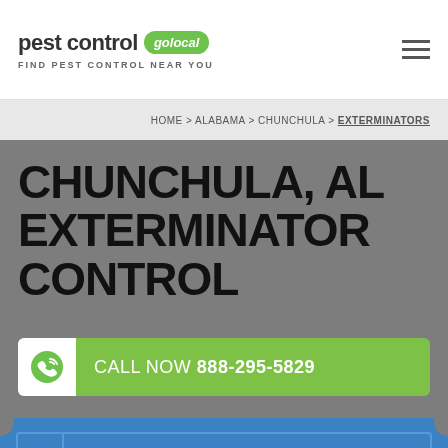pest control golocal - FIND PEST CONTROL NEAR YOU
HOME > ALABAMA > CHUNCHULA > EXTERMINATORS
CHUNCHULA, AL EXTERMINATOR CONTROL
CALL NOW 888-295-5829
COUPON OFF*